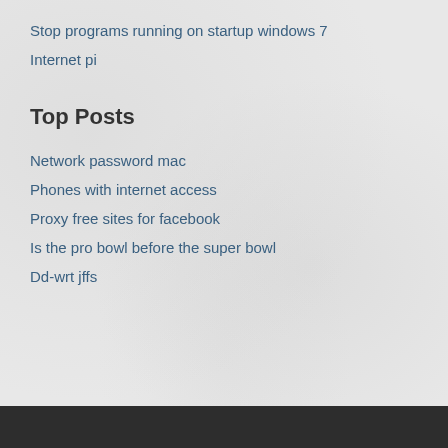Stop programs running on startup windows 7
Internet pi
Top Posts
Network password mac
Phones with internet access
Proxy free sites for facebook
Is the pro bowl before the super bowl
Dd-wrt jffs